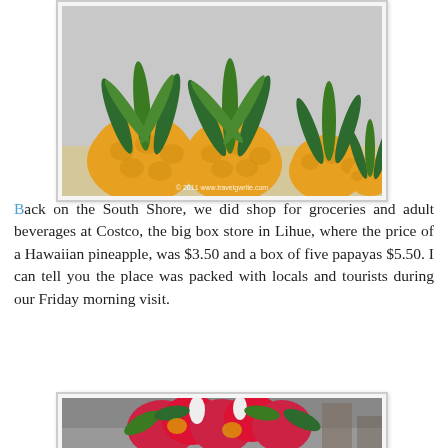[Figure (photo): Photo of several pineapples with green leafy tops arranged together, with a watermark reading © 2011 www.travelgwrite.com]
Back on the South Shore, we did shop for groceries and adult beverages at Costco, the big box store in Lihue, where the price of a Hawaiian pineapple, was $3.50 and a box of five papayas $5.50. I can tell you the place was packed with locals and tourists during our Friday morning visit.
[Figure (photo): Photo of vibrant tropical flower arrangement with red ginger flowers, white blooms, and green leaves displayed at what appears to be an outdoor market]